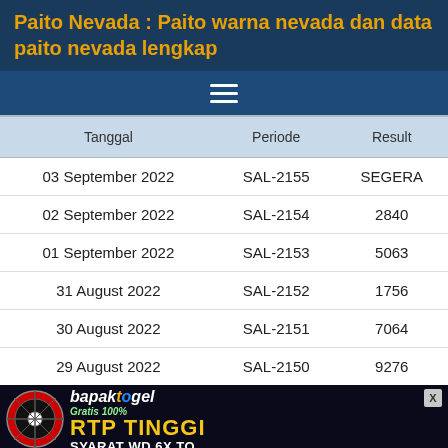Paito Nevada : Paito warna nevada dan data paito nevada lengkap
| Tanggal | Periode | Result |
| --- | --- | --- |
| 03 September 2022 | SAL-2155 | SEGERA |
| 02 September 2022 | SAL-2154 | 2840 |
| 01 September 2022 | SAL-2153 | 5063 |
| 31 August 2022 | SAL-2152 | 1756 |
| 30 August 2022 | SAL-2151 | 7064 |
| 29 August 2022 | SAL-2150 | 9276 |
| 27 August 2022 | SAL-2149 | 3700 |
[Figure (infographic): bapaktogel ad banner: Gratis 100% RTP TINGGI SYARAT WD 6X TO]
Website Togel Online Terbaik & Terpercaya